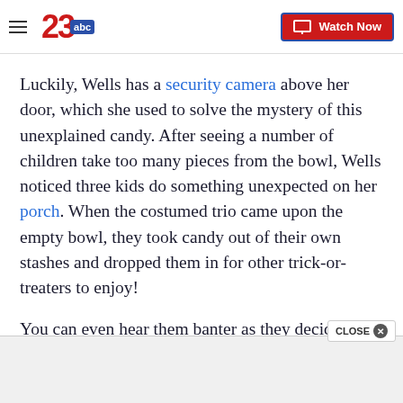23abc | Watch Now
Luckily, Wells has a security camera above her door, which she used to solve the mystery of this unexplained candy. After seeing a number of children take too many pieces from the bowl, Wells noticed three kids do something unexpected on her porch. When the costumed trio came upon the empty bowl, they took candy out of their own stashes and dropped them in for other trick-or-treaters to enjoy!
You can even hear them banter as they decide wha